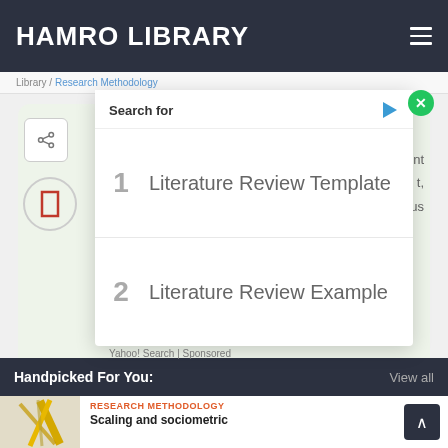HAMRO LIBRARY
Search for
1  Literature Review Template
2  Literature Review Example
Yahoo! Search | Sponsored
Handpicked For You:
View all
RESEARCH METHODOLOGY
Scaling and sociometric